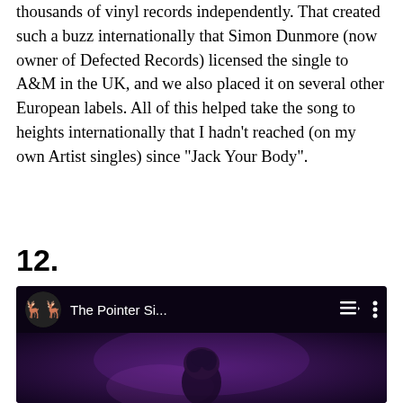thousands of vinyl records independently. That created such a buzz internationally that Simon Dunmore (now owner of Defected Records) licensed the single to A&M in the UK, and we also placed it on several other European labels. All of this helped take the song to heights internationally that I hadn't reached (on my own Artist singles) since "Jack Your Body".
12.
[Figure (screenshot): YouTube video player thumbnail showing 'The Pointer Si...' channel with a dark purple-toned concert image. Channel icon shows dancing figures logo. Icons for playlist and more options visible.]